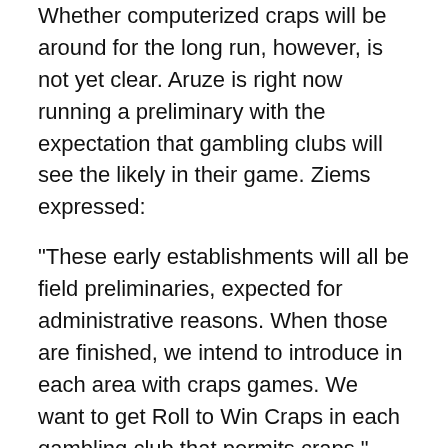Whether computerized craps will be around for the long run, however, is not yet clear. Aruze is right now running a preliminary with the expectation that gambling clubs will see the likely in their game. Ziems expressed:
“These early establishments will all be field preliminaries, expected for administrative reasons. When those are finished, we intend to introduce in each area with craps games. We want to get Roll to Win Craps in each gambling club that permits craps.”
Ziems appears to be fairly sure about Roll to Win’s possibilities. The players, however, will at last decide if this game truly deserve an extremely durable spot on gambling club floors.